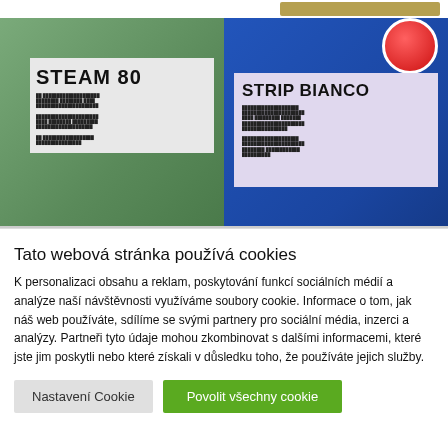[Figure (photo): Green canister labeled STEAM 80 with product information label visible]
[Figure (photo): Blue canister labeled STRIP BIANCO with product information label visible and red circle symbol at top]
Tato webová stránka používá cookies
K personalizaci obsahu a reklam, poskytování funkcí sociálních médií a analýze naší návštěvnosti využíváme soubory cookie. Informace o tom, jak náš web používáte, sdílíme se svými partnery pro sociální média, inzerci a analýzy. Partneři tyto údaje mohou zkombinovat s dalšími informacemi, které jste jim poskytli nebo které získali v důsledku toho, že používáte jejich služby.
Nastavení Cookie
Povolit všechny cookie